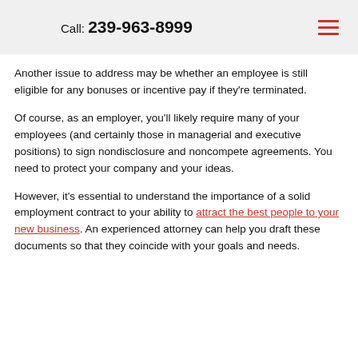Call: 239-963-8999
Another issue to address may be whether an employee is still eligible for any bonuses or incentive pay if they're terminated.
Of course, as an employer, you'll likely require many of your employees (and certainly those in managerial and executive positions) to sign nondisclosure and noncompete agreements. You need to protect your company and your ideas.
However, it's essential to understand the importance of a solid employment contract to your ability to attract the best people to your new business. An experienced attorney can help you draft these documents so that they coincide with your goals and needs.